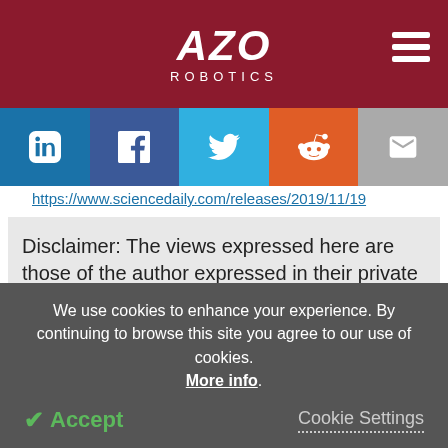AZO ROBOTICS
[Figure (infographic): Social share bar with LinkedIn, Facebook, Twitter, Reddit, and Email buttons]
https://www.sciencedaily.com/releases/2019/11/19...
Disclaimer: The views expressed here are those of the author expressed in their private capacity and do not necessarily represent the views of AZoM.com Limited T/A AZoNetwork the owner and operator of this website. This disclaimer forms...
We use cookies to enhance your experience. By continuing to browse this site you agree to our use of cookies. More info. Accept  Cookie Settings